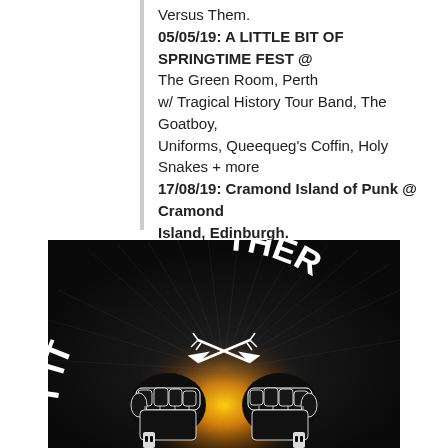Versus Them.
05/05/19: A LITTLE BIT OF SPRINGTIME FEST @ The Green Room, Perth
w/ Tragical History Tour Band, The Goatboy, Uniforms, Queequeg's Coffin, Holy Snakes + more
17/08/19: Cramond Island of Punk @ Cramond Island, Edinburgh.
[Figure (illustration): Black background promotional graphic with bold white arching text reading 'GET IT TOGETHER', two raised fists in the center with crossed arrows above them, orange/yellow radial glow in the center, dotted pattern radiating outward.]